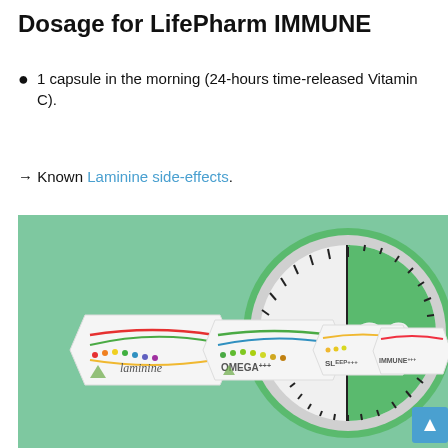Dosage for LifePharm IMMUNE
1 capsule in the morning (24-hours time-released Vitamin C).
→ Known Laminine side-effects.
[Figure (photo): Product photo showing Laminine, OMEGA+++, SLEEP+++, and IMMUNE+++ boxes arranged next to a large green timer/clock showing the number 30, on a green background.]